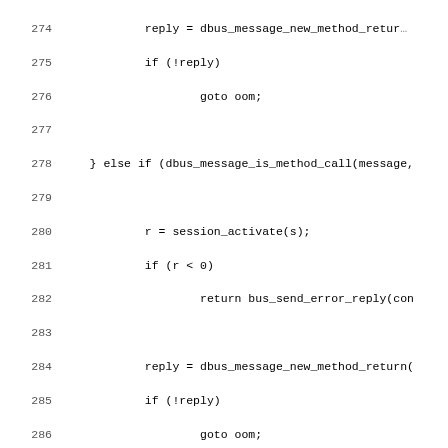[Figure (screenshot): Source code listing in monospace font showing C code lines 274-306, including dbus method call handling with session_activate, dbus_message_new_method_return, session_send_signal, and dbus_message_get_args calls]